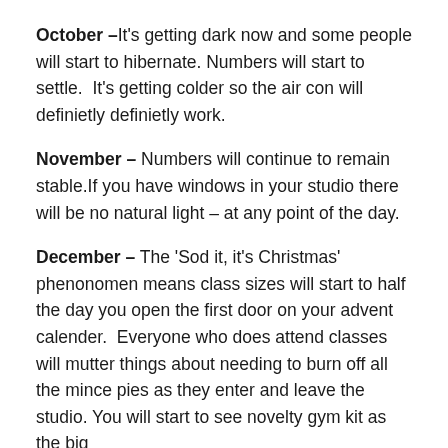October – It's getting dark now and some people will start to hibernate. Numbers will start to settle.  It's getting colder so the air con will definietly definietly work.
November – Numbers will continue to remain stable.If you have windows in your studio there will be no natural light – at any point of the day.
December – The 'Sod it, it's Christmas' phenonomen means class sizes will start to half the day you open the first door on your advent calender.  Everyone who does attend classes will mutter things about needing to burn off all the mince pies as they enter and leave the studio. You will start to see novelty gym kit as the big...